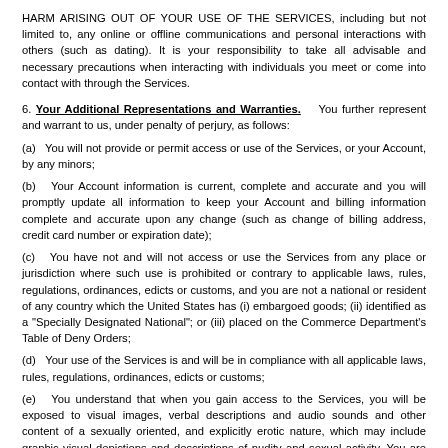HARM ARISING OUT OF YOUR USE OF THE SERVICES, including but not limited to, any online or offline communications and personal interactions with others (such as dating). It is your responsibility to take all advisable and necessary precautions when interacting with individuals you meet or come into contact with through the Services.
6. Your Additional Representations and Warranties.    You further represent and warrant to us, under penalty of perjury, as follows:
(a)   You will not provide or permit access or use of the Services, or your Account, by any minors;
(b)   Your Account information is current, complete and accurate and you will promptly update all information to keep your Account and billing information complete and accurate upon any change (such as change of billing address, credit card number or expiration date);
(c)   You have not and will not access or use the Services from any place or jurisdiction where such use is prohibited or contrary to applicable laws, rules, regulations, ordinances, edicts or customs, and you are not a national or resident of any country which the United States has (i) embargoed goods; (ii) identified as a "Specially Designated National"; or (iii) placed on the Commerce Department's Table of Deny Orders;
(d)   Your use of the Services is and will be in compliance with all applicable laws, rules, regulations, ordinances, edicts or customs;
(e)   You understand that when you gain access to the Services, you will be exposed to visual images, verbal descriptions and audio sounds and other content of a sexually oriented, and explicitly erotic nature, which may include graphic visual depictions and descriptions of nudity and sexual activity. You are voluntarily choosing to do so, because you want to view, read and/or hear the various materials and content which are available, for